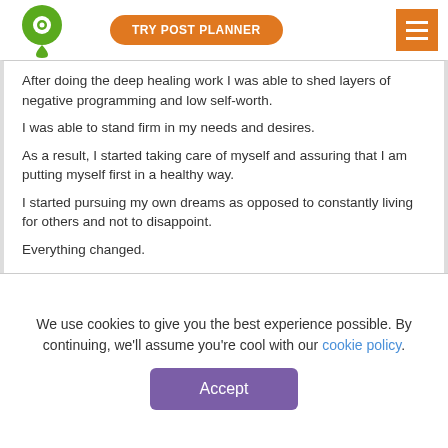TRY POST PLANNER
After doing the deep healing work I was able to shed layers of negative programming and low self-worth.

I was able to stand firm in my needs and desires.

As a result, I started taking care of myself and assuring that I am putting myself first in a healthy way.

I started pursuing my own dreams as opposed to constantly living for others and not to disappoint.

Everything changed.

I felt happier and more full of life and vitality.

Doing this is a significant part of why I am where am today.

Do you feel like it is selfish to pursue your own dreams?
#Shayshine #change #selflove #dreams #growth
We use cookies to give you the best experience possible. By continuing, we'll assume you're cool with our cookie policy.
Accept